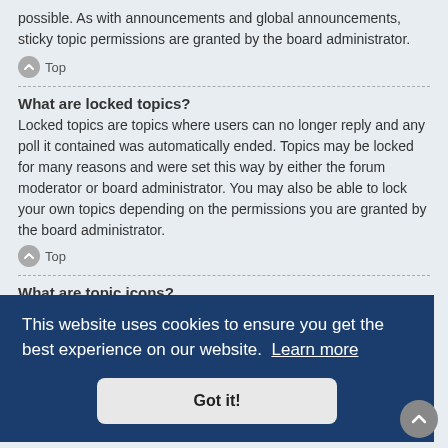possible. As with announcements and global announcements, sticky topic permissions are granted by the board administrator.
Top
What are locked topics?
Locked topics are topics where users can no longer reply and any poll it contained was automatically ended. Topics may be locked for many reasons and were set this way by either the forum moderator or board administrator. You may also be able to lock your own topics depending on the permissions you are granted by the board administrator.
Top
What are topic icons?
Topic icons are author chosen images associated with posts to indicate their content. The ability to use topic icons depends on the permissions set by the
This website uses cookies to ensure you get the best experience on our website. Learn more
Got it!
entire board. These members can control all facets of board operation, including